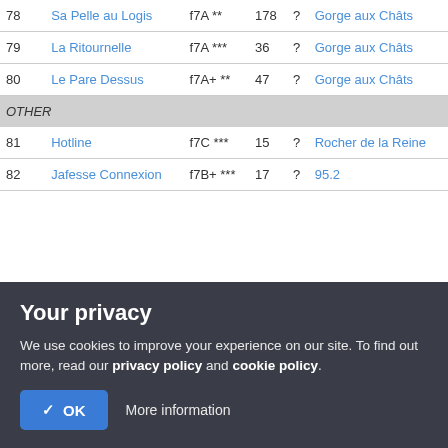| # | Name | Grade | Votes | Stars | Crag |
| --- | --- | --- | --- | --- | --- |
| 78 | Sa Pelle au Logis | f7A ** | 178 | ? | Gorge aux Châts |
| 79 | La Ritournelle | f7A *** | 36 | ? | Gorge aux Châts |
| 80 | Le Pare Dessus | f7A+ ** | 47 | ? | Gorge aux Châts |
| OTHER |  |  |  |  |  |
| 81 | Hotline | f7C *** | 15 | ? | Rocher de la Reine |
| 82 | Jafesse Connexion | f7B+ *** | 17 | ? | 95.2 |
Your privacy
We use cookies to improve your experience on our site. To find out more, read our privacy policy and cookie policy.